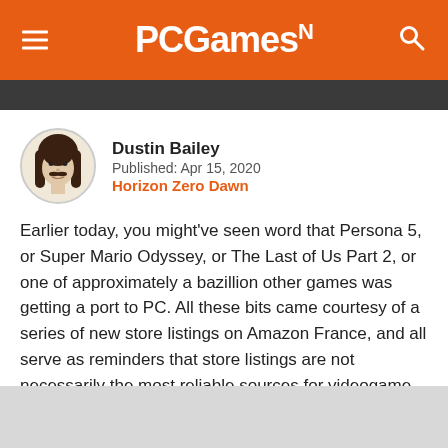PCGamesN
[Figure (photo): Dark banner/header image strip below the navigation bar]
[Figure (illustration): Circular avatar illustration of Dustin Bailey — a cartoon-style portrait of a man with long dark hair and a mustache]
Dustin Bailey
Published: Apr 15, 2020
Horizon Zero Dawn
Earlier today, you might've seen word that Persona 5, or Super Mario Odyssey, or The Last of Us Part 2, or one of approximately a bazillion other games was getting a port to PC. All these bits came courtesy of a series of new store listings on Amazon France, and all serve as reminders that store listings are not necessarily the most reliable sources for videogame leaks.